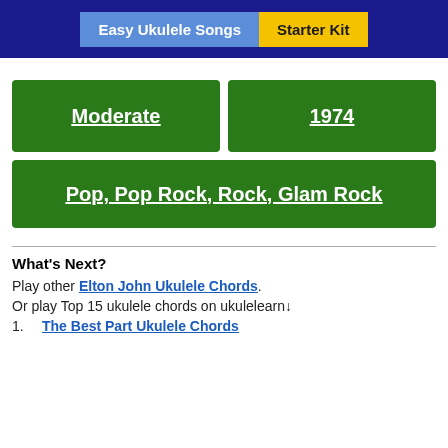Easy Ukulele Songs | Starter Kit
Moderate
1974
Pop, Pop Rock, Rock, Glam Rock
What's Next?
Play other Elton John Ukulele Chords.
Or play Top 15 ukulele chords on ukulelearn↓
The Best Part Ukulele Chords